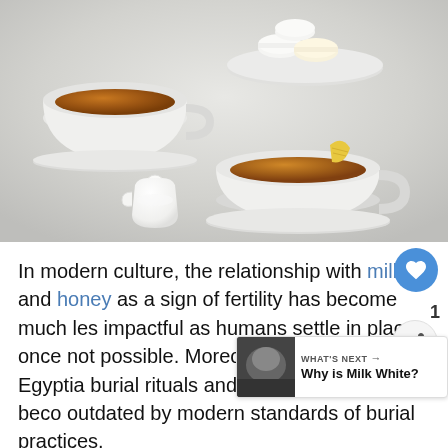[Figure (photo): Overhead/angled view of two white tea cups filled with brown tea, a small white milk jug, and a plate of white macarons on a light grey/white surface]
In modern culture, the relationship with milk and honey as a sign of fertility has become much less impactful as humans settle in places once not possible. Moreover, the ancient Egyptian burial rituals and beliefs have long become outdated by modern standards of burial practices.